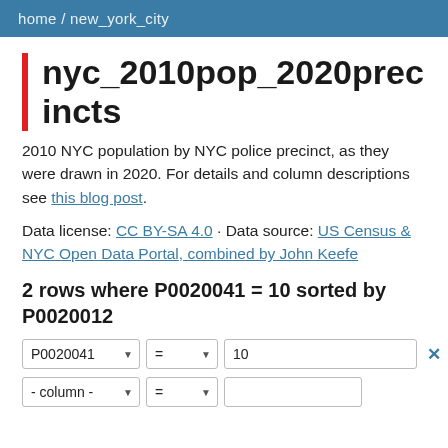home / new_york_city
nyc_2010pop_2020precincts
2010 NYC population by NYC police precinct, as they were drawn in 2020. For details and column descriptions see this blog post.
Data license: CC BY-SA 4.0 · Data source: US Census & NYC Open Data Portal, combined by John Keefe
2 rows where P0020041 = 10 sorted by P0020012
P0020041 = 10 [filter row]
- column - = [second filter row]